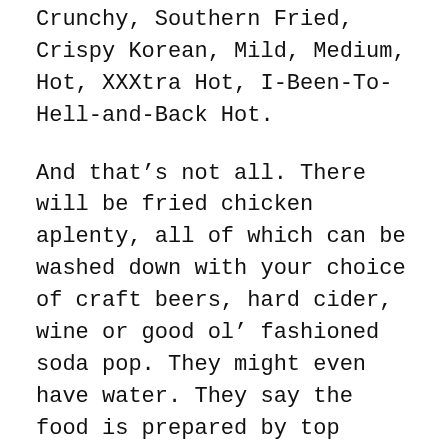Crunchy, Southern Fried, Crispy Korean, Mild, Medium, Hot, XXXtra Hot, I-Been-To-Hell-and-Back Hot.
And that's not all. There will be fried chicken aplenty, all of which can be washed down with your choice of craft beers, hard cider, wine or good ol' fashioned soda pop. They might even have water. They say the food is prepared by top chefs and food vendors.
The festivities begin at 11:30 a.m. and run until 9 p.m. There are six different levels of tickets, ranging from $15 to $45.
Some finger-lickin' history: Fried chicken wings have been a Southern staple for years and years. But the idea of smothering them in peppery hot sauce was born in Buffalo, N.Y., at the Anchor Bar, an establishment still going strong. In 1964, bar